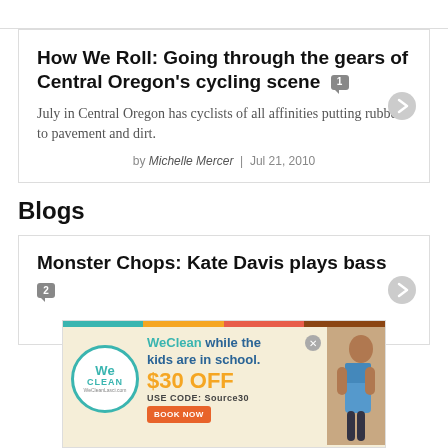How We Roll: Going through the gears of Central Oregon's cycling scene
July in Central Oregon has cyclists of all affinities putting rubber to pavement and dirt.
by Michelle Mercer | Jul 21, 2010
Blogs
Monster Chops: Kate Davis plays bass
[Figure (infographic): WeClean advertisement banner: 'WeClean while the kids are in school. $30 OFF USE CODE: Source30' with BOOK NOW button and photo of cleaning person.]